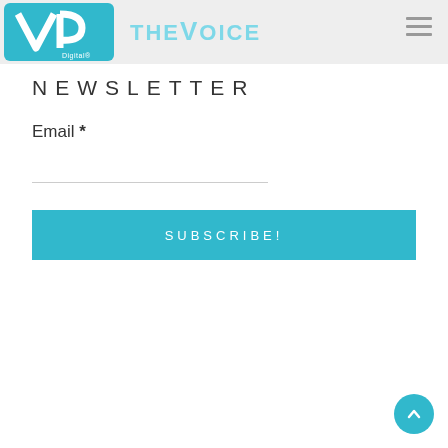VP Digital / THE VOICE
NEWSLETTER
Email *
SUBSCRIBE!